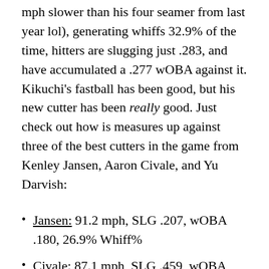mph slower than his four seamer from last year lol), generating whiffs 32.9% of the time, hitters are slugging just .283, and have accumulated a .277 wOBA against it. Kikuchi's fastball has been good, but his new cutter has been really good. Just check out how is measures up against three of the best cutters in the game from Kenley Jansen, Aaron Civale, and Yu Darvish:
Jansen: 91.2 mph, SLG .207, wOBA .180, 26.9% Whiff%
Civale: 87.1 mph, SLG .459, wOBA .291, 30.9 Whiff%
Darvish: 87.1 mph, SLG .359, wOBA .273, 36.8 Whiff%